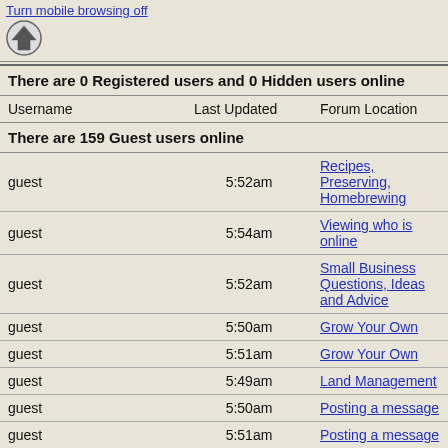Turn mobile browsing off
| Username | Last Updated | Forum Location |
| --- | --- | --- |
| guest | 5:52am | Recipes, Preserving, Homebrewing |
| guest | 5:54am | Viewing who is online |
| guest | 5:52am | Small Business Questions, Ideas and Advice |
| guest | 5:50am | Grow Your Own |
| guest | 5:51am | Grow Your Own |
| guest | 5:49am | Land Management |
| guest | 5:50am | Posting a message |
| guest | 5:51am | Posting a message |
| guest | 5:50am | Grow Your Own |